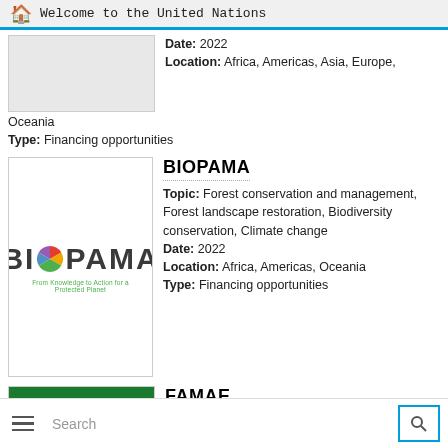Welcome to the United Nations
Date: 2022
Location: Africa, Americas, Asia, Europe, Oceania
Type: Financing opportunities
[Figure (logo): BIOPAMA logo — text 'BIOPAMA' with globe icon replacing the O, subtitle 'From Knowledge to Action for a Protected Planet']
BIOPAMA
Topic: Forest conservation and management, Forest landscape restoration, Biodiversity conservation, Climate change
Date: 2022
Location: Africa, Americas, Oceania
Type: Financing opportunities
[Figure (photo): FAMAE entry — green background with partial image visible at bottom of page]
FAMAE
Topic: Forest conservation
Search